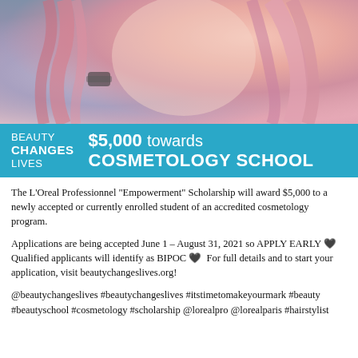[Figure (photo): Young woman with pink hair smiling, used as promotional image for beauty scholarship advertisement]
BEAUTY CHANGES LIVES  $5,000 towards COSMETOLOGY SCHOOL
The L'Oreal Professionnel "Empowerment" Scholarship will award $5,000 to a newly accepted or currently enrolled student of an accredited cosmetology program.
Applications are being accepted June 1 – August 31, 2021 so APPLY EARLY 🖤  Qualified applicants will identify as BIPOC 🖤  For full details and to start your application, visit beautychangeslives.org!
@beautychangeslives #beautychangeslives #itstimetomakeyourmark #beauty #beautyschool #cosmetology #scholarship @lorealpro @lorealparis #hairstylist